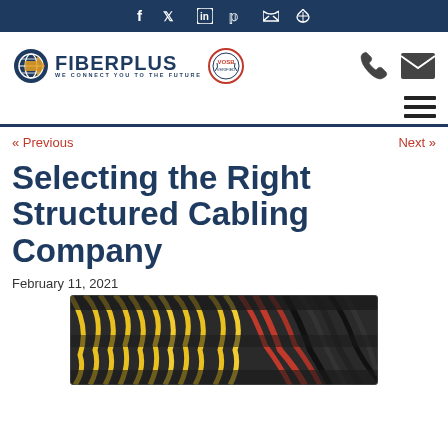f   Twitter  in  Pinterest  RSS
[Figure (logo): FiberPlus logo with globe icon and tagline WE CONNECT YOU TO THE FUTURE, plus VOSB badge]
[Figure (other): Phone icon and mail/envelope icon on the right side of header]
[Figure (other): Hamburger menu icon (three horizontal lines)]
« Previous
Next »
Selecting the Right Structured Cabling Company
February 11, 2021
[Figure (photo): Photo of dense network cables (yellow, red, black) in a structured cabling rack/panel]